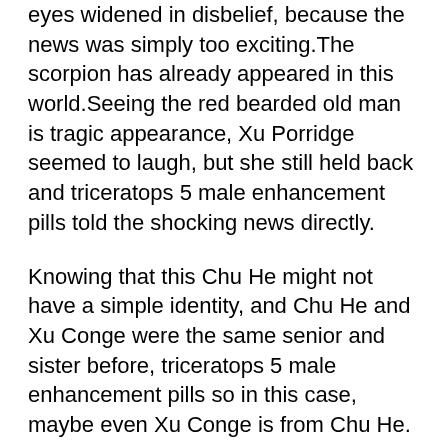eyes widened in disbelief, because the news was simply too exciting.The scorpion has already appeared in this world.Seeing the red bearded old man is tragic appearance, Xu Porridge seemed to laugh, but she still held back and triceratops 5 male enhancement pills told the shocking news directly.
Knowing that this Chu He might not have a simple identity, and Chu He and Xu Conge were the same senior and sister before, triceratops 5 male enhancement pills so in this case, maybe even Xu Conge is from Chu He.
After flying for several hours, a blue sea appeared in front of them.The sea water looked crystal clear and the scene was beautiful, but all kinds of monsters in triceratops 5 male enhancement pills the flvs drivers ed drug and alcohol sea were biting fiercely in the sea triceratops 5 male enhancement pills water.
He did not understand why the other party was also the